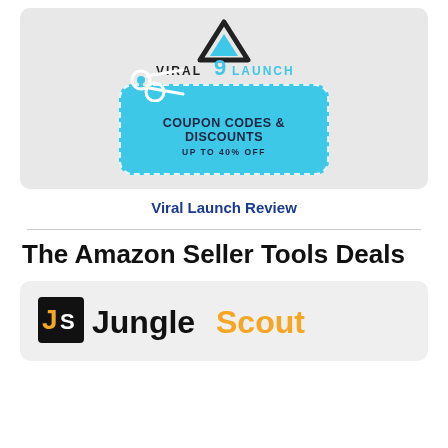[Figure (infographic): Viral Launch logo with coupon codes & discounts up to 40% off banner on grey background]
Viral Launch Review
The Amazon Seller Tools Deals
[Figure (logo): Jungle Scout logo on grey background]